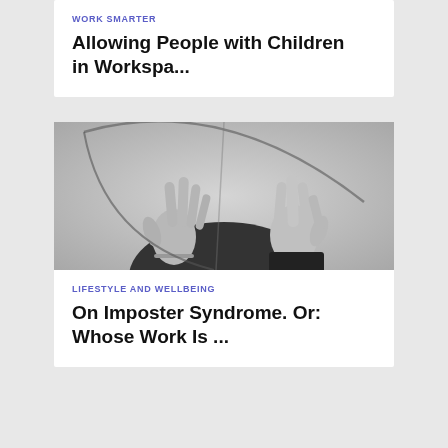WORK SMARTER
Allowing People with Children in Workspa...
[Figure (photo): Black and white photograph of two hands touching a circular mirror, creating a reflection effect against a light gray background]
LIFESTYLE AND WELLBEING
On Imposter Syndrome. Or: Whose Work Is ...